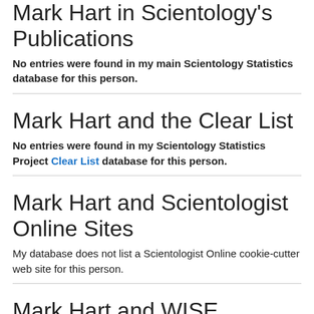Mark Hart in Scientology's Publications
No entries were found in my main Scientology Statistics database for this person.
Mark Hart and the Clear List
No entries were found in my Scientology Statistics Project Clear List database for this person.
Mark Hart and Scientologist Online Sites
My database does not list a Scientologist Online cookie-cutter web site for this person.
Mark Hart and WISE